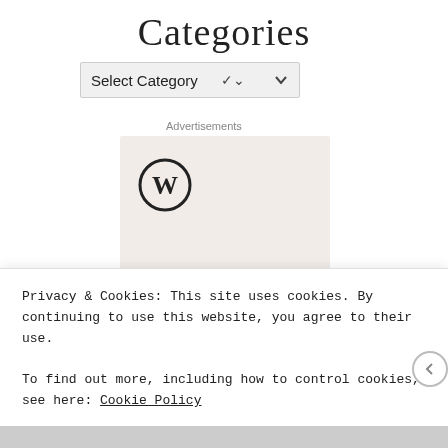Categories
[Figure (screenshot): A dropdown select element labeled 'Select Category' with a chevron/arrow on the right]
Advertisements
[Figure (logo): WordPress logo (W in a circle) on a light beige background with text 'Need a' at the bottom]
Privacy & Cookies: This site uses cookies. By continuing to use this website, you agree to their use.
To find out more, including how to control cookies, see here: Cookie Policy
Close and accept